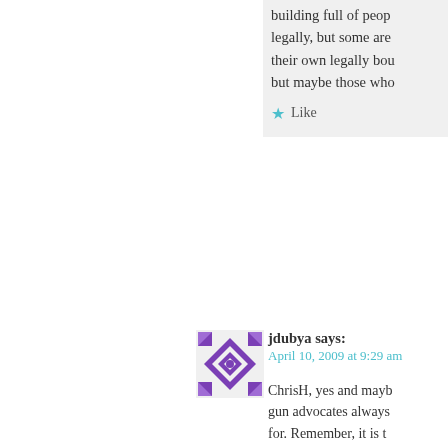building full of people legally, but some are their own legally bou but maybe those who
Like
jdubya says: April 10, 2009 at 9:29 am
[Figure (illustration): Avatar image with purple/violet geometric diamond pattern]
ChrisH, yes and mayb gun advocates always for. Remember, it is t itself. And the NRA a to make sure there ar
And yes, I know that damn so save your vi sure they can buy ple education. The gun a ones that cause the gr
Like